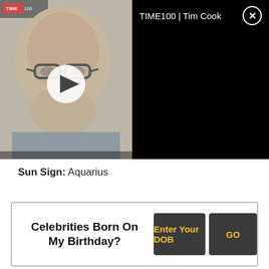[Figure (screenshot): Video thumbnail showing a man with glasses (Tim Cook) with a play button overlay, alongside a black panel titled 'TIME100 | Tim Cook' with a close button]
Sun Sign: Aquarius
Celebrities Born On My Birthday?
Enter Your DOB
GO